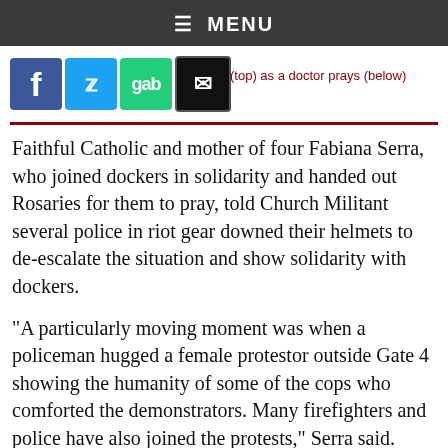≡ MENU
[Figure (other): Social media share icons: Facebook (blue f), Twitter (blue bird), Gab (green gab), Email (black envelope). Caption text partially visible: '(top) as a doctor prays (below)']
Faithful Catholic and mother of four Fabiana Serra, who joined dockers in solidarity and handed out Rosaries for them to pray, told Church Militant several police in riot gear downed their helmets to de-escalate the situation and show solidarity with dockers.
"A particularly moving moment was when a policeman hugged a female protestor outside Gate 4 showing the humanity of some of the cops who comforted the demonstrators. Many firefighters and police have also joined the protests," Serra said.
"A lone Polish priest was seen leading protestors in praying the Rosary," she noted. A source from Rome said the cleric was later reprimand[ed by his superiors].